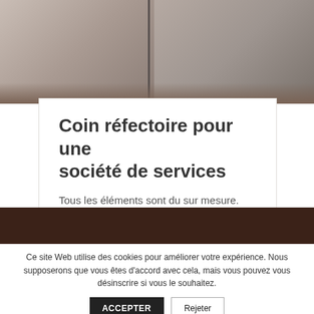[Figure (photo): Photo of a cafeteria/dining corner with cabinet furniture, wooden floor, two-panel view.]
Coin réfectoire pour une société de services
Tous les éléments sont du sur mesure.
[Figure (other): Dark brown decorative banner strip.]
Ce site Web utilise des cookies pour améliorer votre expérience. Nous supposerons que vous êtes d'accord avec cela, mais vous pouvez vous désinscrire si vous le souhaitez.